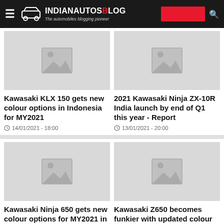IndianAutosBlog – The automobiles blogging pioneer
[Figure (screenshot): Placeholder thumbnail image for article 1]
Kawasaki KLX 150 gets new colour options in Indonesia for MY2021
14/01/2021 - 18:00
[Figure (screenshot): Placeholder thumbnail image for article 2]
2021 Kawasaki Ninja ZX-10R India launch by end of Q1 this year - Report
13/01/2021 - 20:00
[Figure (screenshot): Placeholder thumbnail image for article 3]
Kawasaki Ninja 650 gets new colour options for MY2021 in Japan
08/01/2021 - 16:00
[Figure (screenshot): Placeholder thumbnail image for article 4]
Kawasaki Z650 becomes funkier with updated colour option for MY2021
06/01/2021 - 12:00